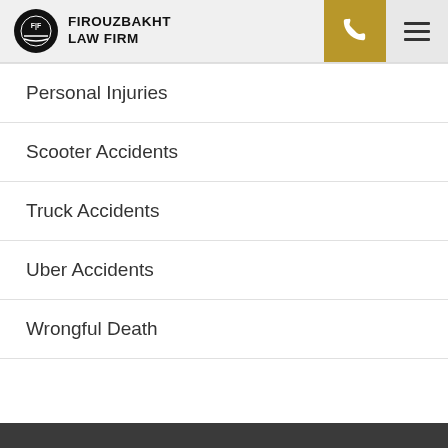[Figure (logo): Firouzbakht Law Firm logo with circular emblem and firm name]
Personal Injuries
Scooter Accidents
Truck Accidents
Uber Accidents
Wrongful Death
[Figure (logo): Firouzbakht Law Firm footer logo on dark background]